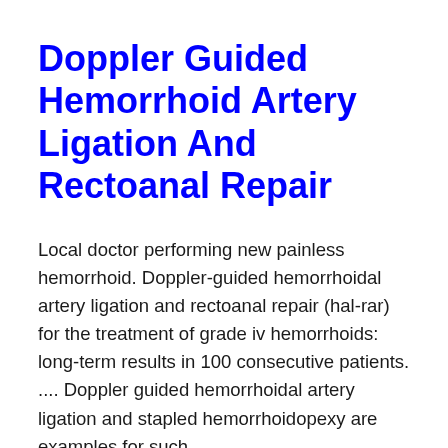Doppler Guided Hemorrhoid Artery Ligation And Rectoanal Repair
Local doctor performing new painless hemorrhoid. Doppler-guided hemorrhoidal artery ligation and rectoanal repair (hal-rar) for the treatment of grade iv hemorrhoids: long-term results in 100 consecutive patients. .... Doppler guided hemorrhoidal artery ligation and stapled hemorrhoidopexy are examples for such